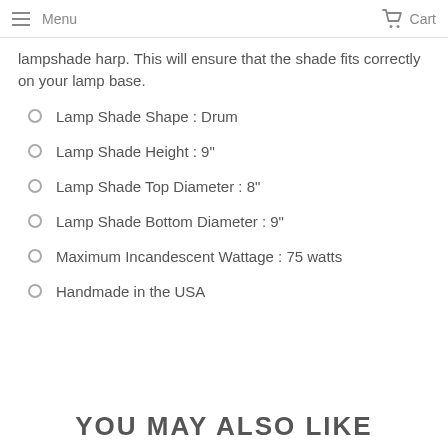Menu  Cart
lampshade harp. This will ensure that the shade fits correctly on your lamp base.
Lamp Shade Shape : Drum
Lamp Shade Height : 9"
Lamp Shade Top Diameter : 8"
Lamp Shade Bottom Diameter : 9"
Maximum Incandescent Wattage : 75 watts
Handmade in the USA
YOU MAY ALSO LIKE